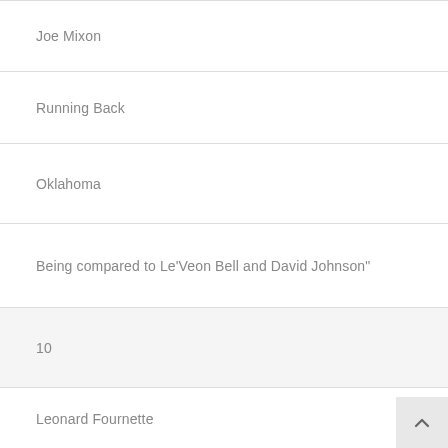Joe Mixon
Running Back
Oklahoma
Being compared to Le'Veon Bell and David Johnson"
10
Leonard Fournette